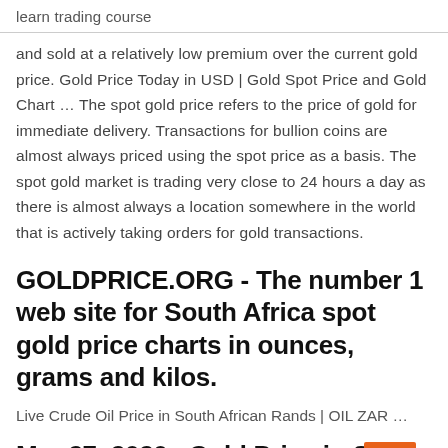learn trading course
and sold at a relatively low premium over the current gold price. Gold Price Today in USD | Gold Spot Price and Gold Chart … The spot gold price refers to the price of gold for immediate delivery. Transactions for bullion coins are almost always priced using the spot price as a basis. The spot gold market is trading very close to 24 hours a day as there is almost always a location somewhere in the world that is actively taking orders for gold transactions.
GOLDPRICE.ORG - The number 1 web site for South Africa spot gold price charts in ounces, grams and kilos.
Live Crude Oil Price in South African Rands | OIL ZAR …
Mar 27, 2020 · Gold Price in South African Rand is a